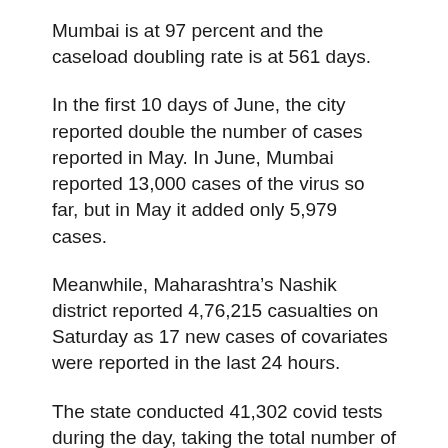Mumbai is at 97 percent and the caseload doubling rate is at 561 days.
In the first 10 days of June, the city reported double the number of cases reported in May. In June, Mumbai reported 13,000 cases of the virus so far, but in May it added only 5,979 cases.
Meanwhile, Maharashtra’s Nashik district reported 4,76,215 casualties on Saturday as 17 new cases of covariates were reported in the last 24 hours.
The state conducted 41,302 covid tests during the day, taking the total number of tests to 8.12 crore.